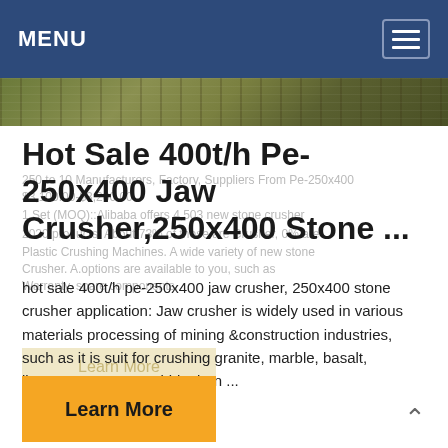MENU
[Figure (photo): Outdoor photo strip showing green/brown terrain, likely mining or construction site]
Hot Sale 400t/h Pe-250x400 Jaw Crusher,250x400 Stone ...
hot sale 400t/h pe-250x400 jaw crusher, 250x400 stone crusher application: Jaw crusher is widely used in various materials processing of mining &construction industries, such as it is suit for crushing granite, marble, basalt, limestone, quartz, cobble, iron ...
Learn More
Learn More